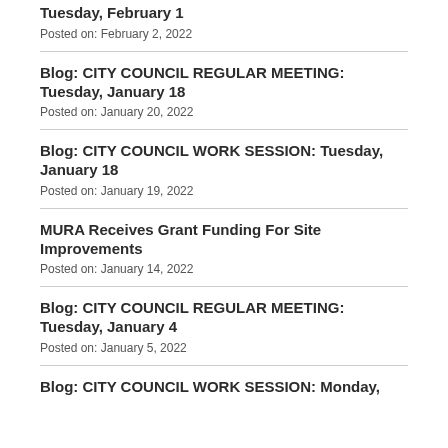Tuesday, February 1
Posted on: February 2, 2022
Blog: CITY COUNCIL REGULAR MEETING: Tuesday, January 18
Posted on: January 20, 2022
Blog: CITY COUNCIL WORK SESSION: Tuesday, January 18
Posted on: January 19, 2022
MURA Receives Grant Funding For Site Improvements
Posted on: January 14, 2022
Blog: CITY COUNCIL REGULAR MEETING: Tuesday, January 4
Posted on: January 5, 2022
Blog: CITY COUNCIL WORK SESSION: Monday,